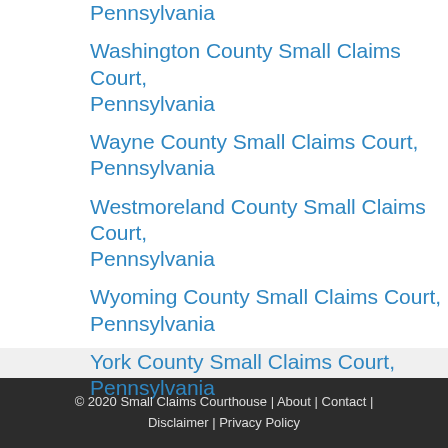Pennsylvania
Washington County Small Claims Court, Pennsylvania
Wayne County Small Claims Court, Pennsylvania
Westmoreland County Small Claims Court, Pennsylvania
Wyoming County Small Claims Court, Pennsylvania
York County Small Claims Court, Pennsylvania
© 2020 Small Claims Courthouse | About | Contact | Disclaimer | Privacy Policy